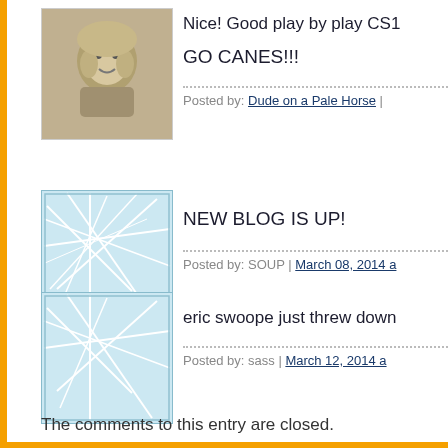[Figure (photo): Avatar image of a cherub/angel figure, grayscale illustration]
Nice! Good play by play CS1
GO CANES!!!
Posted by: Dude on a Pale Horse |
[Figure (illustration): Default avatar placeholder with blue/light blue network line pattern]
NEW BLOG IS UP!
Posted by: SOUP | March 08, 2014 a
[Figure (illustration): Default avatar placeholder with blue/light blue network line pattern]
eric swoope just threw down
Posted by: sass | March 12, 2014 a
[Figure (illustration): Default avatar placeholder with blue/light blue network line pattern]
Twice!!!
Posted by: sass | March 12, 2014 a
« Pre
The comments to this entry are closed.